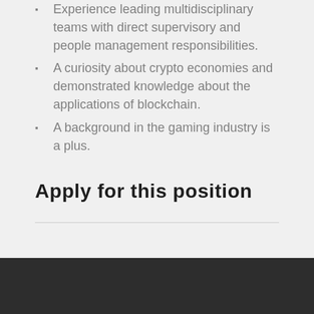Experience leading multidisciplinary teams with direct supervisory and people management responsibilities.
A curiosity about crypto economies and demonstrated knowledge about the applications of blockchain.
A background in the gaming industry is a plus.
Apply for this position